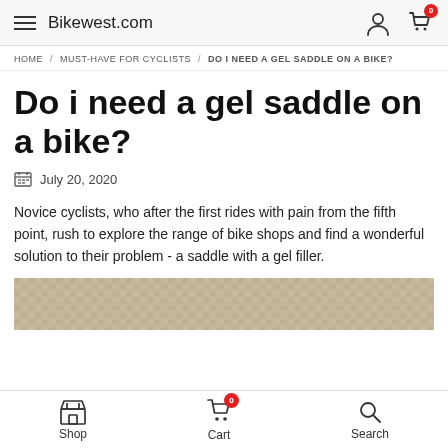Bikewest.com
HOME / MUST-HAVE FOR CYCLISTS / DO I NEED A GEL SADDLE ON A BIKE?
Do i need a gel saddle on a bike?
July 20, 2020
Novice cyclists, who after the first rides with pain from the fifth point, rush to explore the range of bike shops and find a wonderful solution to their problem - a saddle with a gel filler.
[Figure (photo): Partial image of a woven/textured surface, likely a bike saddle or seat material with a tan/beige color]
Shop  Cart  Search